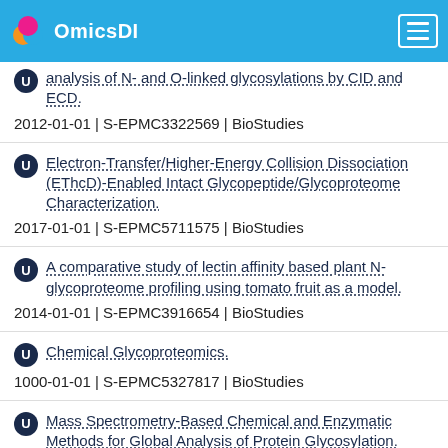OmicsDI
analysis of N- and O-linked glycosylations by CID and ECD.
2012-01-01 | S-EPMC3322569 | BioStudies
Electron-Transfer/Higher-Energy Collision Dissociation (EThcD)-Enabled Intact Glycopeptide/Glycoproteome Characterization.
2017-01-01 | S-EPMC5711575 | BioStudies
A comparative study of lectin affinity based plant N-glycoproteome profiling using tomato fruit as a model.
2014-01-01 | S-EPMC3916654 | BioStudies
Chemical Glycoproteomics.
1000-01-01 | S-EPMC5327817 | BioStudies
Mass Spectrometry-Based Chemical and Enzymatic Methods for Global Analysis of Protein Glycosylation.
2018-01-01 | S-EPMC6118346 | BioStudies